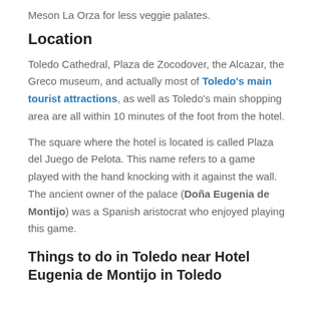Meson La Orza for less veggie palates.
Location
Toledo Cathedral, Plaza de Zocodover, the Alcazar, the Greco museum, and actually most of Toledo's main tourist attractions, as well as Toledo's main shopping area are all within 10 minutes of the foot from the hotel.
The square where the hotel is located is called Plaza del Juego de Pelota. This name refers to a game played with the hand knocking with it against the wall. The ancient owner of the palace (Doña Eugenia de Montijo) was a Spanish aristocrat who enjoyed playing this game.
Things to do in Toledo near Hotel Eugenia de Montijo in Toledo